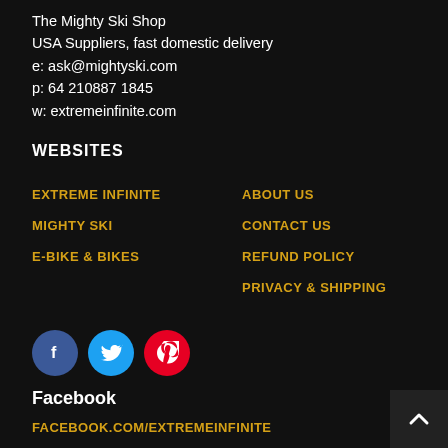The Mighty Ski Shop
USA Suppliers, fast domestic delivery
e: ask@mightyski.com
p: 64 210887 1845
w: extremeinfinite.com
WEBSITES
EXTREME INFINITE
MIGHTY SKI
E-BIKE & BIKES
ABOUT US
CONTACT US
REFUND POLICY
PRIVACY & SHIPPING
[Figure (illustration): Three social media icon circles: Facebook (blue), Twitter (light blue), Pinterest (red)]
Facebook
FACEBOOK.COM/EXTREMEINFINITE